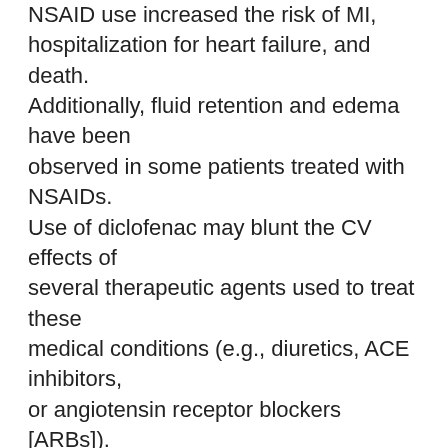NSAID use increased the risk of MI, hospitalization for heart failure, and death. Additionally, fluid retention and edema have been observed in some patients treated with NSAIDs. Use of diclofenac may blunt the CV effects of several therapeutic agents used to treat these medical conditions (e.g., diuretics, ACE inhibitors, or angiotensin receptor blockers [ARBs]). Avoid the use of X-Flam in patients with severe heart failure unless the benefits are expected to outweigh the risk of worsening heart failure. If X-Flam is used in patients with severe heart failure, monitor patients for signs of worsening heart failure.
Renal Toxicity And Hyperkalemia
Renal Toxicity